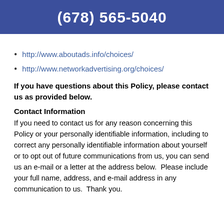(678) 565-5040
http://www.aboutads.info/choices/
http://www.networkadvertising.org/choices/
If you have questions about this Policy, please contact us as provided below.
Contact Information
If you need to contact us for any reason concerning this Policy or your personally identifiable information, including to correct any personally identifiable information about yourself or to opt out of future communications from us, you can send us an e-mail or a letter at the address below.  Please include your full name, address, and e-mail address in any communication to us.  Thank you.